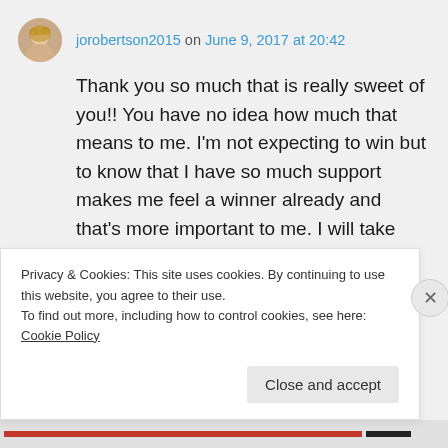jorobertson2015 on June 9, 2017 at 20:42
Thank you so much that is really sweet of you!! You have no idea how much that means to me. I'm not expecting to win but to know that I have so much support makes me feel a winner already and that's more important to me. I will take pics and let you know how the day goes. 😊😊
Like
Privacy & Cookies: This site uses cookies. By continuing to use this website, you agree to their use.
To find out more, including how to control cookies, see here: Cookie Policy
Close and accept